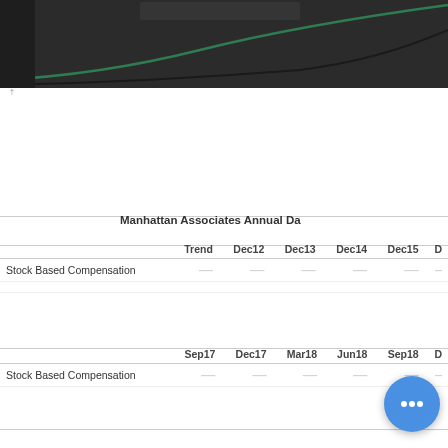[Figure (continuous-plot): Partial view of a dark-background line chart showing curved lines (green and dark) representing financial trend data for Manhattan Associates. The top portion of the chart is visible with a dark gray background.]
Manhattan Associates Annual Da
|  | Trend | Dec12 | Dec13 | Dec14 | Dec15 | D... |
| --- | --- | --- | --- | --- | --- | --- |
| Stock Based Compensation | — | — | — | — | — |
|  | Sep17 | Dec17 | Mar18 | Jun18 | Sep18 | D... |
| --- | --- | --- | --- | --- | --- | --- |
| Stock Based Compensation | — | — | — | — | — |